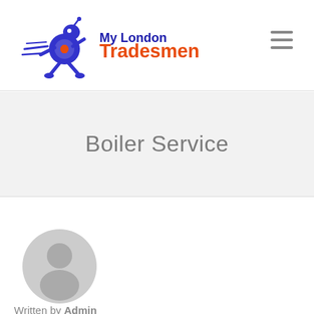[Figure (logo): My London Tradesmen logo with blue running robot figure and stylized text]
Boiler Service
[Figure (illustration): Grey generic user/avatar placeholder icon (circle with person silhouette)]
Written by Admin